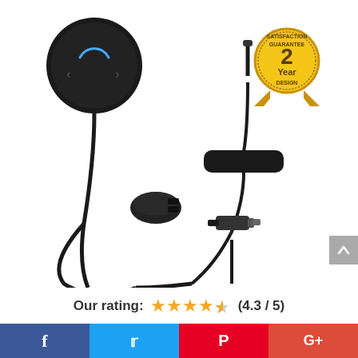[Figure (photo): Bluetooth car kit product photo showing a round black Bluetooth receiver with a blue LED indicator, connected to an AUX cable with inline control module, a dual-port USB car charger, and a USB charging cable. A gold '2 Year Satisfaction Guarantee Design' badge is visible in the upper right.]
Our rating: ★★★★★ (4.3 / 5)
[Figure (infographic): Social media share bar with four icons: Facebook (blue), Twitter (light blue), Pinterest (red), Google+ (red-orange)]